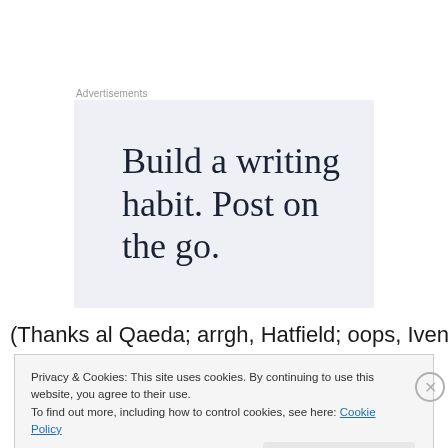Advertisements
[Figure (illustration): Advertisement box with light blue-grey background displaying the text 'Build a writing habit. Post on the go.' in large serif font]
(Thanks al Qaeda; arrgh, Hatfield; oops, Ivens … well, did
Privacy & Cookies: This site uses cookies. By continuing to use this website, you agree to their use.
To find out more, including how to control cookies, see here: Cookie Policy